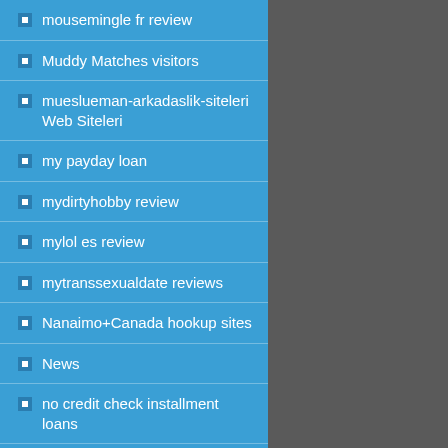mousemingle fr review
Muddy Matches visitors
mueslueman-arkadaslik-siteleri Web Siteleri
my payday loan
mydirtyhobby review
mylol es review
mytranssexualdate reviews
Nanaimo+Canada hookup sites
News
no credit check installment loans
no credit check payday loans guaranteed approval